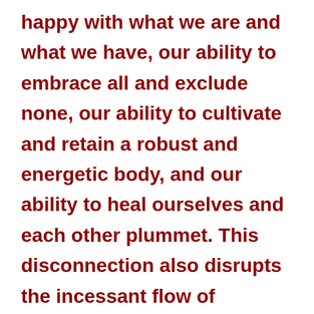happy with what we are and what we have, our ability to embrace all and exclude none, our ability to cultivate and retain a robust and energetic body, and our ability to heal ourselves and each other plummet. This disconnection also disrupts the incessant flow of information among the body's various systems and organs, and so they begin to function chaotically. This is how we become